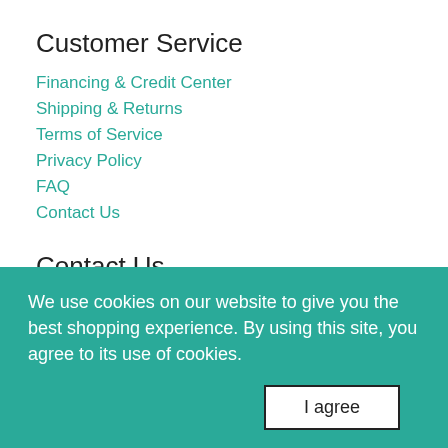Customer Service
Financing & Credit Center
Shipping & Returns
Terms of Service
Privacy Policy
FAQ
Contact Us
Contact Us
ADDRESS:
11714 Emerald Coast Pkwy Suite2,
Miramar Beach, FL 32550
PHONE:
(833)FLOORZZ
(833)356-6799
EMAIL:
INFO@FLOORZZ.COM
HOURS OF OPERATION:
MON - FRI / 8:00AM - 5PM CST
We use cookies on our website to give you the best shopping experience. By using this site, you agree to its use of cookies.
I agree